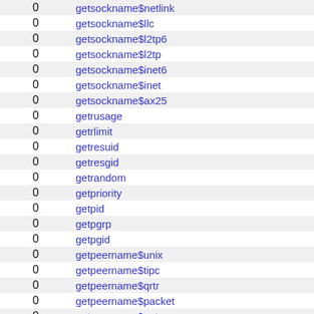|  |  |
| --- | --- |
| 0 | getsockname$netlink |
| 0 | getsockname$llc |
| 0 | getsockname$l2tp6 |
| 0 | getsockname$l2tp |
| 0 | getsockname$inet6 |
| 0 | getsockname$inet |
| 0 | getsockname$ax25 |
| 0 | getrusage |
| 0 | getrlimit |
| 0 | getresuid |
| 0 | getresgid |
| 0 | getrandom |
| 0 | getpriority |
| 0 | getpid |
| 0 | getpgrp |
| 0 | getpgid |
| 0 | getpeername$unix |
| 0 | getpeername$tipc |
| 0 | getpeername$qrtr |
| 0 | getpeername$packet |
| 0 | getpeername$netrom |